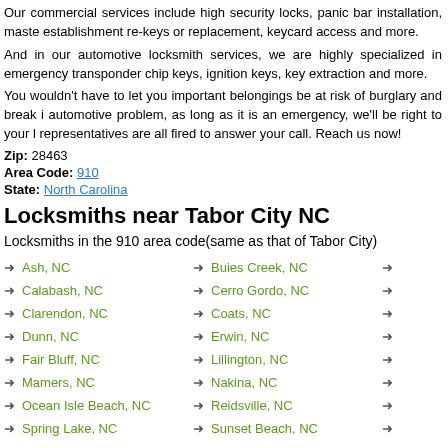Our commercial services include high security locks, panic bar installation, master establishment re-keys or replacement, keycard access and more. And in our automotive locksmith services, we are highly specialized in emergency transponder chip keys, ignition keys, key extraction and more. You wouldn't have to let you important belongings be at risk of burglary and break in. automotive problem, as long as it is an emergency, we'll be right to your location. representatives are all fired to answer your call. Reach us now!
Zip: 28463
Area Code: 910
State: North Carolina
Locksmiths near Tabor City NC
Locksmiths in the 910 area code(same as that of Tabor City)
Ash, NC
Buies Creek, NC
Calabash, NC
Cerro Gordo, NC
Clarendon, NC
Coats, NC
Dunn, NC
Erwin, NC
Fair Bluff, NC
Lillington, NC
Mamers, NC
Nakina, NC
Ocean Isle Beach, NC
Reidsville, NC
Spring Lake, NC
Sunset Beach, NC